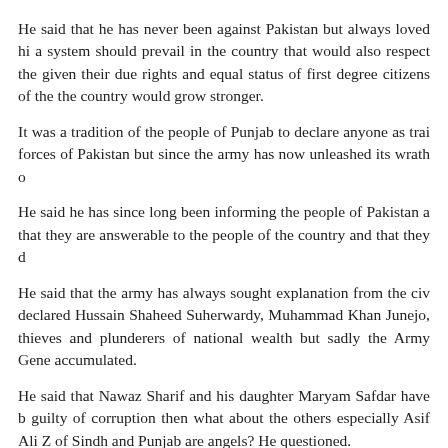He said that he has never been against Pakistan but always loved hi a system should prevail in the country that would also respect the given their due rights and equal status of first degree citizens of the the country would grow stronger.
It was a tradition of the people of Punjab to declare anyone as trai forces of Pakistan but since the army has now unleashed its wrath o
He said he has since long been informing the people of Pakistan a that they are answerable to the people of the country and that they d
He said that the army has always sought explanation from the civ declared Hussain Shaheed Suherwardy, Muhammad Khan Junejo, thieves and plunderers of national wealth but sadly the Army Gene accumulated.
He said that Nawaz Sharif and his daughter Maryam Safdar have b guilty of corruption then what about the others especially Asif Ali Z of Sindh and Punjab are angels? He questioned.
If they have jailed Sharif and his daughter, they should also jail kidnapped one of our daughters, Raees Fatima for months and henc rise against this pure injustice and this is the question of their collec